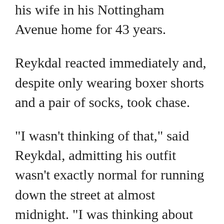his wife in his Nottingham Avenue home for 43 years.
Reykdal reacted immediately and, despite only wearing boxer shorts and a pair of socks, took chase.
"I wasn't thinking of that," said Reykdal, admitting his outfit wasn't exactly normal for running down the street at almost midnight. "I was thinking about getting my dog back before they got away with her."
Despite the dark of night, Nala's blond fur let Reykdal track the group of coyotes as he ran after them, the one holding Nala in its mouth eventually breaking from the pack.
"I thought she was gone for good," he said. "I'm